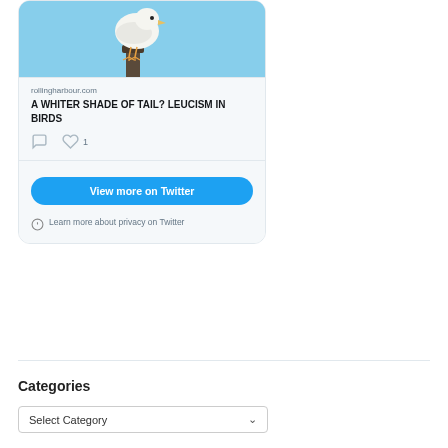[Figure (screenshot): Twitter/X embedded card showing a white bird (leucistic seagull) perched on a post against blue sky. Card shows domain 'rollingharbour.com', title 'A WHITER SHADE OF TAIL? LEUCISM IN BIRDS', comment icon, heart icon with count 1, a 'View more on Twitter' blue button, and 'Learn more about privacy on Twitter' notice.]
Categories
Select Category